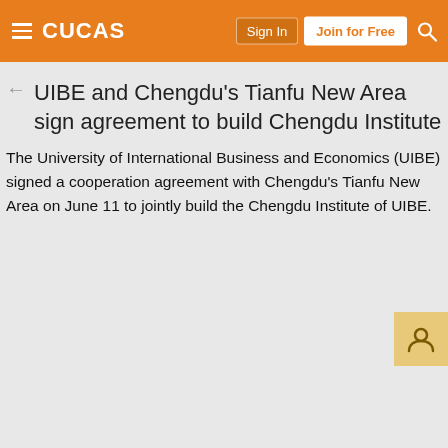CUCAS | Sign In | Join for Free
UIBE and Chengdu's Tianfu New Area sign agreement to build Chengdu Institute
The University of International Business and Economics (UIBE) signed a cooperation agreement with Chengdu's Tianfu New Area on June 11 to jointly build the Chengdu Institute of UIBE.